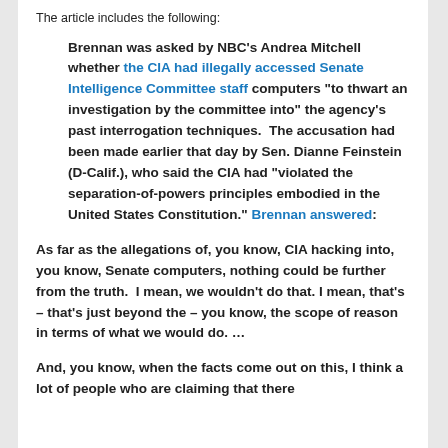The article includes the following:
Brennan was asked by NBC's Andrea Mitchell whether the CIA had illegally accessed Senate Intelligence Committee staff computers "to thwart an investigation by the committee into" the agency's past interrogation techniques. The accusation had been made earlier that day by Sen. Dianne Feinstein (D-Calif.), who said the CIA had "violated the separation-of-powers principles embodied in the United States Constitution." Brennan answered:
As far as the allegations of, you know, CIA hacking into, you know, Senate computers, nothing could be further from the truth. I mean, we wouldn't do that. I mean, that's – that's just beyond the – you know, the scope of reason in terms of what we would do. …
And, you know, when the facts come out on this, I think a lot of people who are claiming that there